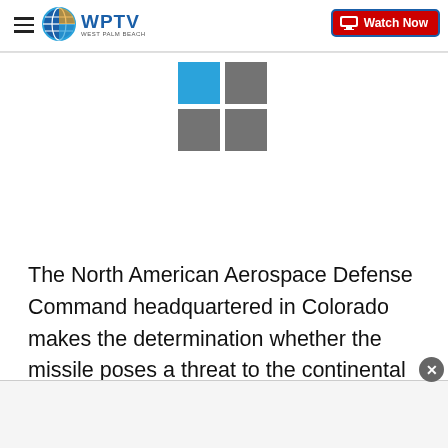WPTV West Palm Beach | Watch Now
[Figure (logo): Microsoft logo - four squares: one blue (top-left), three grey]
The North American Aerospace Defense Command headquartered in Colorado makes the determination whether the missile poses a threat to the continental US.